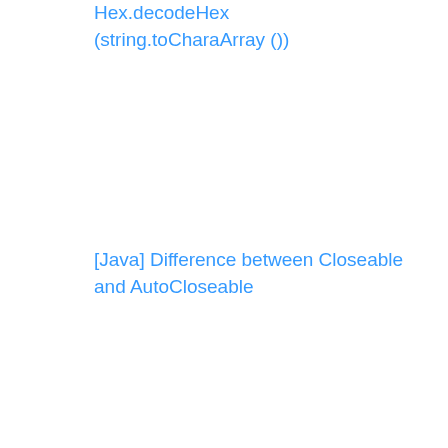Hex.decodeHex (string.toCharaArray ())
[Java] Difference between Closeable and AutoCloseable